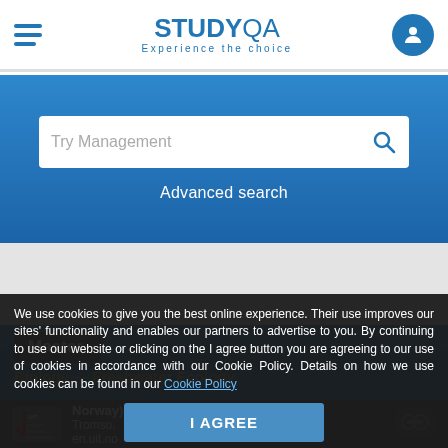STUDYQA — Experience the choice
Try Management
Advanced search
Master
Biology — Freshwater Ecology
We use cookies to give you the best online experience. Their use improves our sites' functionality and enables our partners to advertise to you. By continuing to use our website or clicking on the I agree button you are agreeing to our use of cookies in accordance with our Cookie Policy. Details on how we use cookies can be found in our Cookie Policy
I AGREE
Norway)
Tromso,
en.uit.no